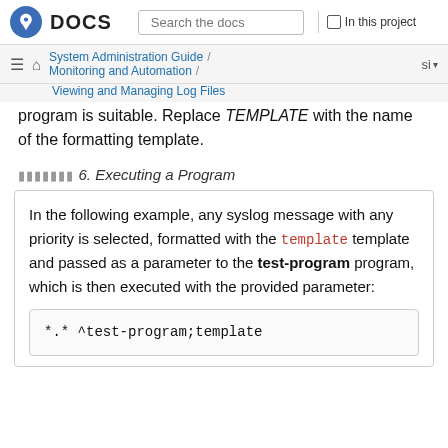DOCS | Search the docs | In this project
System Administration Guide / Monitoring and Automation / Viewing and Managing Log Files
program is suitable. Replace TEMPLATE with the name of the formatting template.
Example 6. Executing a Program
In the following example, any syslog message with any priority is selected, formatted with the template template and passed as a parameter to the test-program program, which is then executed with the provided parameter:
*.* ^test-program;template